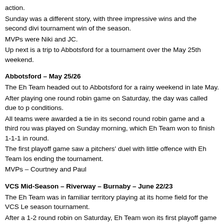action.
Sunday was a different story, with three impressive wins and the second divi tournament win of the season.
MVPs were Niki and JC.
Up next is a trip to Abbotsford for a tournament over the May 25th weekend.
Abbotsford – May 25/26
The Eh Team headed out to Abbotsford for a rainy weekend in late May.
After playing one round robin game on Saturday, the day was called due to p conditions.
All teams were awarded a tie in its second round robin game and a third rou was played on Sunday morning, which Eh Team won to finish 1-1-1 in round.
The first playoff game saw a pitchers' duel with little offence with Eh Team los ending the tournament.
MVPs – Courtney and Paul
VCS Mid-Season – Riverway – Burnaby – June 22/23
The Eh Team was in familiar territory playing at its home field for the VCS Le season tournament.
After a 1-2 round robin on Saturday, Eh Team won its first playoff game Sund double knock-out event.
But the bats were quiet in the next two games with Eh Team losing 11-9 and the weekend.
MVPs: Carri and Mac